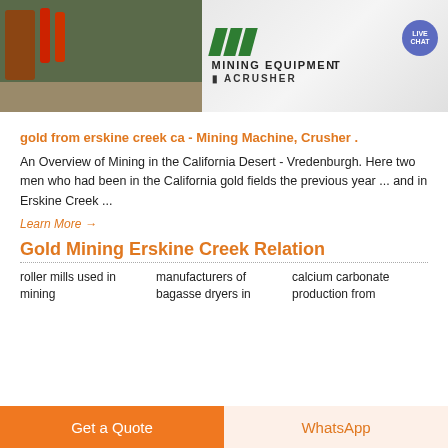[Figure (photo): Mining equipment photo with machinery, red cylinders, gravel, and a Mining Equipment Acrusher sign banner with green diagonal stripes and a Live Chat bubble icon]
gold from erskine creek ca - Mining Machine, Crusher .
An Overview of Mining in the California Desert - Vredenburgh. Here two men who had been in the California gold fields the previous year ... and in Erskine Creek ...
Learn More →
Gold Mining Erskine Creek Relation
roller mills used in mining
manufacturers of bagasse dryers in
calcium carbonate production from
Get a Quote
WhatsApp